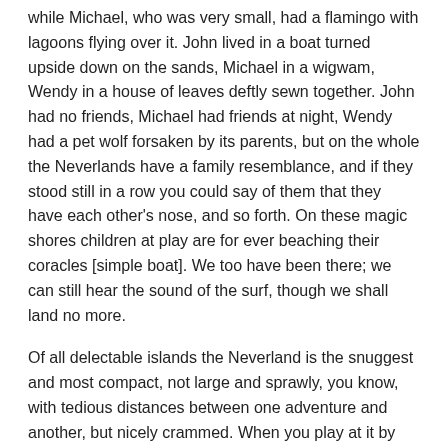while Michael, who was very small, had a flamingo with lagoons flying over it. John lived in a boat turned upside down on the sands, Michael in a wigwam, Wendy in a house of leaves deftly sewn together. John had no friends, Michael had friends at night, Wendy had a pet wolf forsaken by its parents, but on the whole the Neverlands have a family resemblance, and if they stood still in a row you could say of them that they have each other's nose, and so forth. On these magic shores children at play are for ever beaching their coracles [simple boat]. We too have been there; we can still hear the sound of the surf, though we shall land no more.
Of all delectable islands the Neverland is the snuggest and most compact, not large and sprawly, you know, with tedious distances between one adventure and another, but nicely crammed. When you play at it by day with the chairs and table-cloth, it is not in the least alarming, but in the two minutes before you go to sleep it becomes very real. That is why there are night-lights.
Occasionally in her travels through her children's minds Mrs. Darling found things she could not understand, and of these quite the most